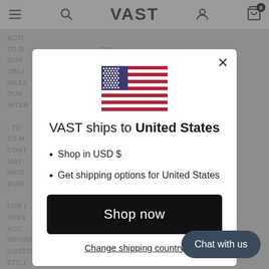VAST
ACTI... TO D... OUR OBLI... MEAS... OUR INTER...
[Figure (screenshot): Modal dialog showing VAST ships to United States with US flag]
VAST ships to United States
Shop in USD $
Get shipping options for United States
Shop now
Change shipping country
Chat with us